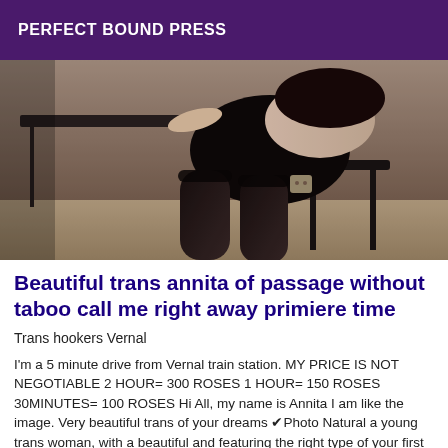PERFECT BOUND PRESS
[Figure (photo): A person posing seated, wearing black lace lingerie and stockings, photographed in an indoor setting with a table and chair visible.]
Beautiful trans annita of passage without taboo call me right away primiere time
Trans hookers Vernal
I'm a 5 minute drive from Vernal train station. MY PRICE IS NOT NEGOTIABLE 2 HOUR= 300 ROSES 1 HOUR= 150 ROSES 30MINUTES= 100 ROSES Hi All, my name is Annita I am like the image. Very beautiful trans of your dreams ✔Photo Natural a young trans woman, with a beautiful and featuring the right type of your first ...